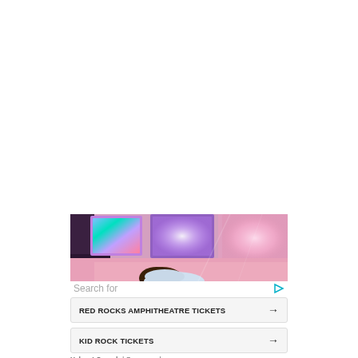[Figure (photo): Concert photo showing a performer from behind with colorful stage lights in pink, purple, and teal. Large screens visible in the background.]
Search for
RED ROCKS AMPHITHEATRE TICKETS →
KID ROCK TICKETS →
Yahoo! Search | Sponsored